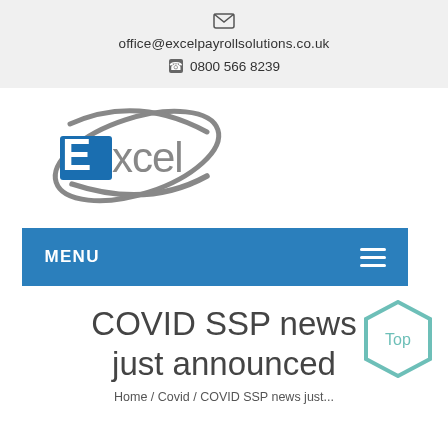office@excelpayrollsolutions.co.uk
0800 566 8239
[Figure (logo): Excel Payroll Solutions logo with blue E letter and grey swoosh orbit graphic]
MENU
COVID SSP news just announced
Home / Covid / COVID SSP news just...